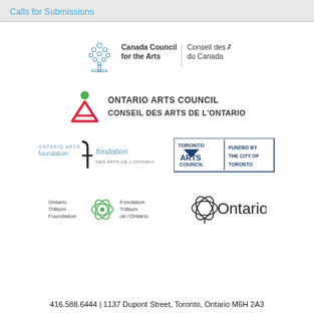Calls for Submissions
[Figure (logo): Canada Council for the Arts / Conseil des Arts du Canada logo]
[Figure (logo): Ontario Arts Council / Conseil des Arts de L'Ontario logo]
[Figure (logo): Ontario Arts Foundation / Fondation des Arts de L'Ontario logo]
[Figure (logo): Toronto Arts Council – Funded by the City of Toronto logo]
[Figure (logo): Ontario Trillium Foundation / Fondation Trillium de l'Ontario logo]
[Figure (logo): Ontario logo with trillium]
416.588.6444 | 1137 Dupont Street, Toronto, Ontario M6H 2A3